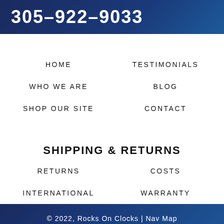305-922-9033
HOME
TESTIMONIALS
WHO WE ARE
BLOG
SHOP OUR SITE
CONTACT
SHIPPING & RETURNS
RETURNS
COSTS
INTERNATIONAL
WARRANTY
© 2022, Rocks On Clocks | Nav Map
[Figure (logo): On The Map Internet Marketing logo with circular icon and text]